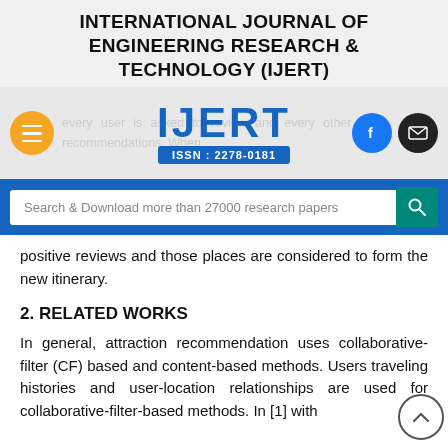INTERNATIONAL JOURNAL OF ENGINEERING RESEARCH & TECHNOLOGY (IJERT)
[Figure (logo): IJERT logo with ISSN: 2278-0181, navigation hamburger button (orange), Facebook icon (blue), email icon (black), and faded background text]
[Figure (screenshot): Search bar: Search & Download more than 27000 research papers]
positive reviews and those places are considered to form the new itinerary.
2. RELATED WORKS
In general, attraction recommendation uses collaborative- filter (CF) based and content-based methods. Users traveling histories and user-location relationships are used for collaborative-filter-based methods. In [1] with